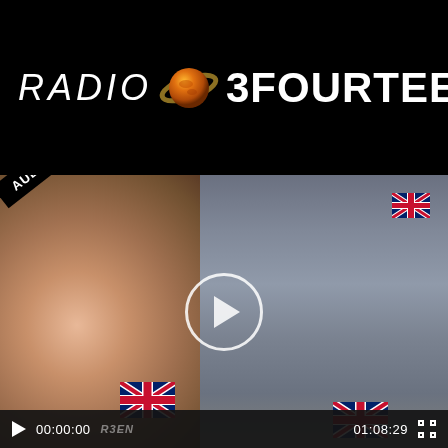[Figure (logo): Radio 3Fourteen logo with globe/planet icon on black background]
[Figure (screenshot): Video player screenshot showing a woman's face on left and a crowd holding British Union Jack flags on right, with an 'AUDIO VERSION' badge, a play button circle in center, and video controls bar at bottom showing timestamp 00:00:00 and duration 01:08:29]